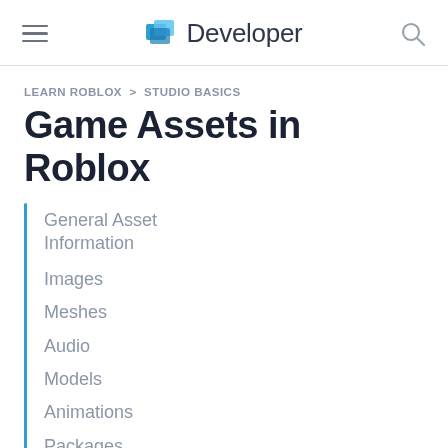Developer
LEARN ROBLOX > STUDIO BASICS
Game Assets in Roblox
General Asset Information
Images
Meshes
Audio
Models
Animations
Packages
Vi…